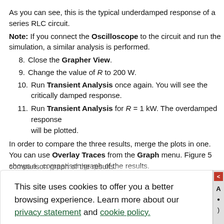As you can see, this is the typical underdamped response of a series RLC circuit.
Note: If you connect the Oscilloscope to the circuit and run the simulation, a similar analysis is performed.
8. Close the Grapher View.
9. Change the value of R to 200 W.
10. Run Transient Analysis once again. You will see the critically damped response.
11. Run Transient Analysis for R = 1 kW. The overdamped response will be plotted.
In order to compare the three results, merge the plots in one. You can use Overlay Traces from the Graph menu. Figure 5 shows a comparison graph of the results.
[Figure (screenshot): Cookie consent overlay dialog reading: 'This site uses cookies to offer you a better browsing experience. Learn more about our privacy statement and cookie policy.' with a 'Yes, I accept' button.]